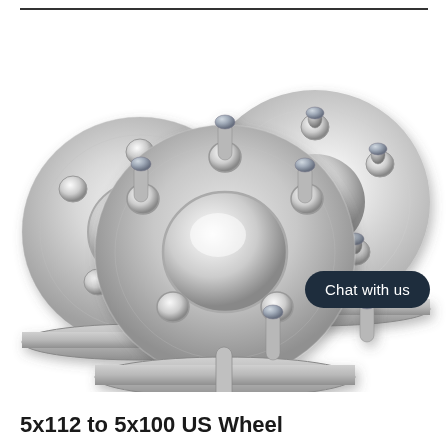[Figure (photo): Three aluminum wheel spacers with studs/nuts, silver/brushed metal finish, stacked and arranged to show front faces with circular cutouts and bolt patterns. Product photo on white background.]
5x112 to 5x100 US Wheel